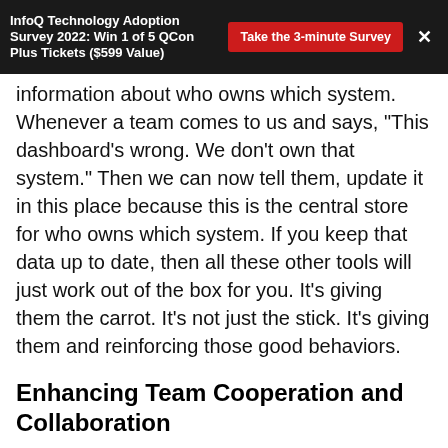InfoQ Technology Adoption Survey 2022: Win 1 of 5 QCon Plus Tickets ($599 Value)
information about who owns which system. Whenever a team comes to us and says, "This dashboard's wrong. We don't own that system." Then we can now tell them, update it in this place because this is the central store for who owns which system. If you keep that data up to date, then all these other tools will just work out of the box for you. It's giving them the carrot. It's not just the stick. It's giving them and reinforcing those good behaviors.
Enhancing Team Cooperation and Collaboration
Levine: You don't worry about the fact that it's difficult to date it to the upper other of the